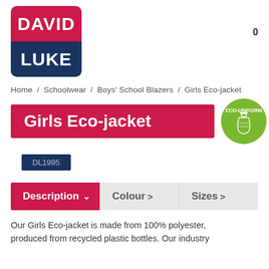[Figure (logo): David Luke brand logo: red top half with 'DAVID', dark navy bottom half with 'LUKE', rounded square shape]
0
Home / Schoolwear / Boys' School Blazers / Girls Eco-jacket
Girls Eco-jacket
[Figure (logo): Green circular eco-uniform badge with bottle icon and text 'ECO-UNIFORM']
DL1995
Description ∨   Colour >   Sizes >
Our Girls Eco-jacket is made from 100% polyester, produced from recycled plastic bottles. Our industry